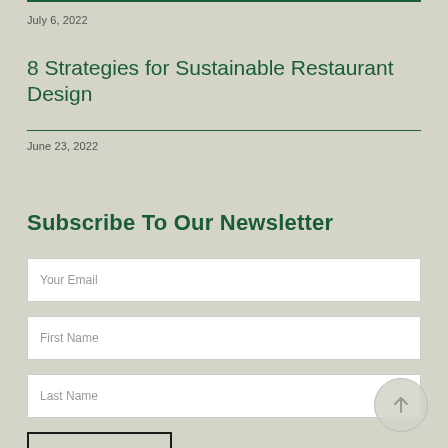July 6, 2022
8 Strategies for Sustainable Restaurant Design
June 23, 2022
Subscribe To Our Newsletter
Your Email
First Name
Last Name
SIGN UP